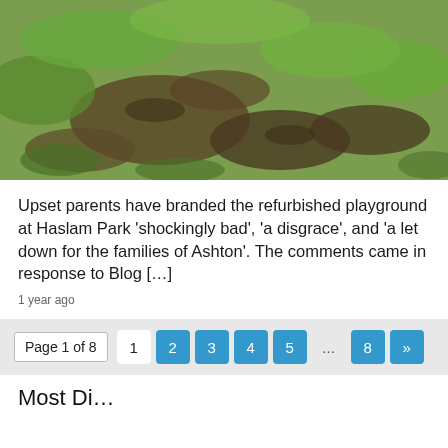[Figure (photo): Photograph of muddy and patchy grass ground, showing damaged turf with bare dirt patches and green grass, appearing to be a park or playground area.]
Upset parents have branded the refurbished playground at Haslam Park ‘shockingly bad’, ‘a disgrace’, and ‘a let down for the families of Ashton’. The comments came in response to Blog […]
1 year ago
Page 1 of 8  1  2  3  4  5  ...  8  »
Most Di…